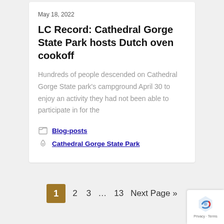May 18, 2022
LC Record: Cathedral Gorge State Park hosts Dutch oven cookoff
Hundreds of people descended on Cathedral Gorge State park's campground April 30 to enjoy an activity they had not been able to participate in for the
Blog-posts
Cathedral Gorge State Park
1  2  3  …  13  Next Page »